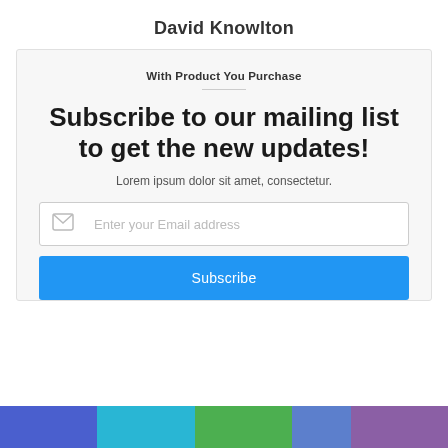David Knowlton
With Product You Purchase
Subscribe to our mailing list to get the new updates!
Lorem ipsum dolor sit amet, consectetur.
Enter your Email address
Subscribe